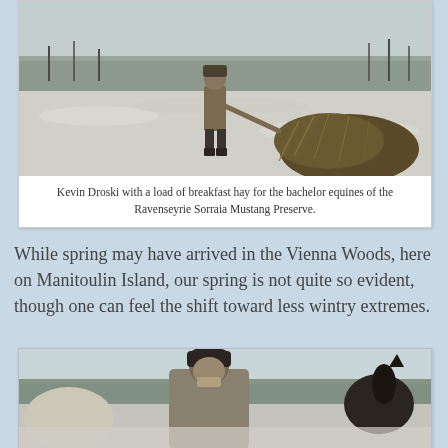[Figure (photo): Kevin Droski standing in a snowy field holding a large bundle of hay, with sparse trees visible in the background. Part of a horse is visible in the foreground right.]
Kevin Droski with a load of breakfast hay for the bachelor equines of the Ravenseyrie Sorraia Mustang Preserve.
While spring may have arrived in the Vienna Woods, here on Manitoulin Island, our spring is not quite so evident, though one can feel the shift toward less wintry extremes.
[Figure (photo): A person in winter clothing and a dark knit hat leaning toward horses in a snowy outdoor setting with trees in the background.]